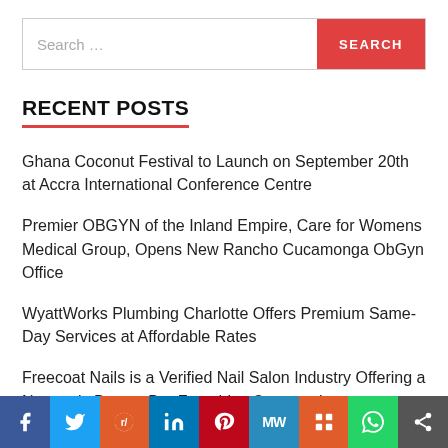[Figure (screenshot): Search bar with text input placeholder 'Search ...' and red SEARCH button]
RECENT POSTS
Ghana Coconut Festival to Launch on September 20th at Accra International Conference Centre
Premier OBGYN of the Inland Empire, Care for Womens Medical Group, Opens New Rancho Cucamonga ObGyn Office
WyattWorks Plumbing Charlotte Offers Premium Same-Day Services at Affordable Rates
Freecoat Nails is a Verified Nail Salon Industry Offering a Non-toxic Beauty Bar Franchise Opportunity
[Figure (infographic): Social media sharing bar with icons for Facebook, Twitter, Reddit, LinkedIn, Pinterest, MeWe, Mix, WhatsApp, and Share]